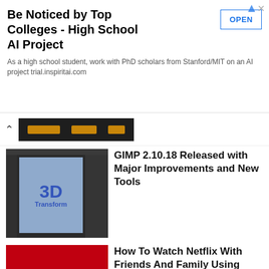[Figure (screenshot): Advertisement banner for 'Be Noticed by Top Colleges - High School AI Project' with an OPEN button]
Be Noticed by Top Colleges - High School AI Project
As a high school student, work with PhD scholars from Stanford/MIT on an AI project trial.inspiritai.com
[Figure (screenshot): Collapsed section with up-arrow chevron and dark thumbnail showing orange buttons]
[Figure (screenshot): GIMP software screenshot showing 3D Transform tool with blue canvas]
GIMP 2.10.18 Released with Major Improvements and New Tools
[Figure (screenshot): Netflix Party logo on red background with NP icon and text]
How To Watch Netflix With Friends And Family Using Netflix Party
[Figure (photo): Raspberry Pi 4 box product photo]
The Cheapest And Fastest Raspberry Pi 4 Now Offers 2GB RAM